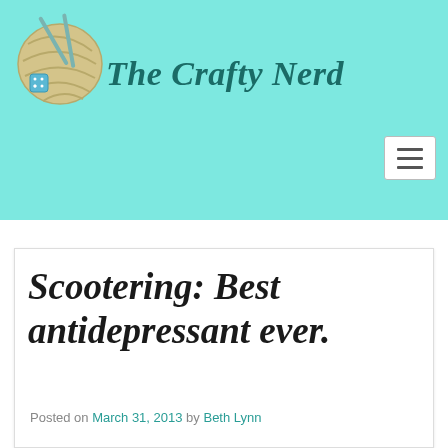The Crafty Nerd
Scootering: Best antidepressant ever.
Posted on March 31, 2013  by Beth Lynn